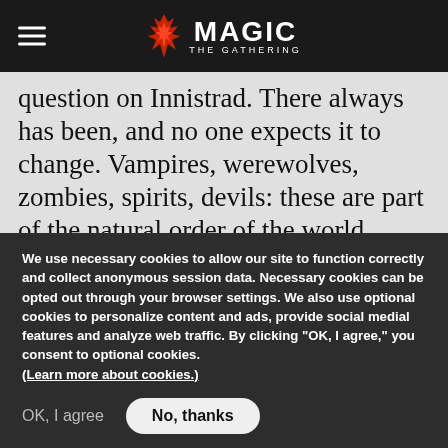Magic: The Gathering
question on Innistrad. There always has been, and no one expects it to change. Vampires, werewolves, zombies, spirits, devils: these are part of the natural order of the world. Humans have always battled the forces of darkness and had their back to the wall in the fight of good versus evil. At times the prospects for the continued existence of the human race have
We use necessary cookies to allow our site to function correctly and collect anonymous session data. Necessary cookies can be opted out through your browser settings. We also use optional cookies to personalize content and ads, provide social medial features and analyze web traffic. By clicking "OK, I agree," you consent to optional cookies. (Learn more about cookies.)
OK, I agree
No, thanks